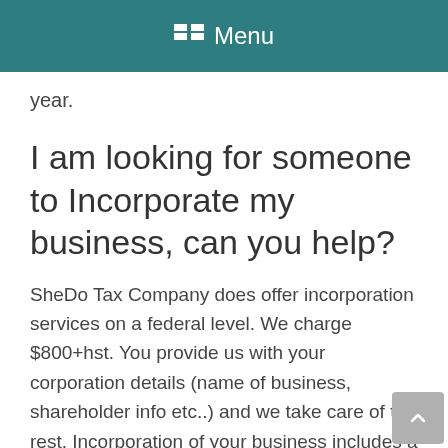Menu
year.
I am looking for someone to Incorporate my business, can you help?
SheDo Tax Company does offer incorporation services on a federal level. We charge $800+hst. You provide us with your corporation details (name of business, shareholder info etc..) and we take care of the rest. Incorporation of your business includes a Nuans name search, minute book and consultation.